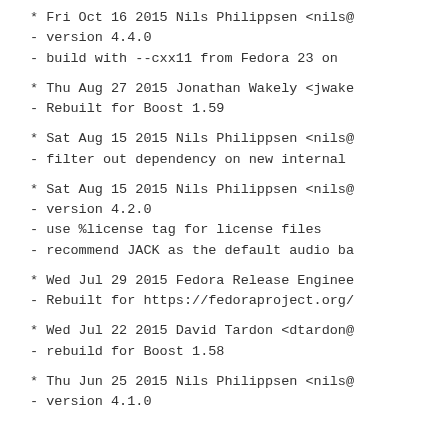* Fri Oct 16 2015 Nils Philippsen <nils@
- version 4.4.0
- build with --cxx11 from Fedora 23 on
* Thu Aug 27 2015 Jonathan Wakely <jwake
- Rebuilt for Boost 1.59
* Sat Aug 15 2015 Nils Philippsen <nils@
- filter out dependency on new internal
* Sat Aug 15 2015 Nils Philippsen <nils@
- version 4.2.0
- use %license tag for license files
- recommend JACK as the default audio ba
* Wed Jul 29 2015 Fedora Release Enginee
- Rebuilt for https://fedoraproject.org/
* Wed Jul 22 2015 David Tardon <dtardon@
- rebuild for Boost 1.58
* Thu Jun 25 2015 Nils Philippsen <nils@
- version 4.1.0